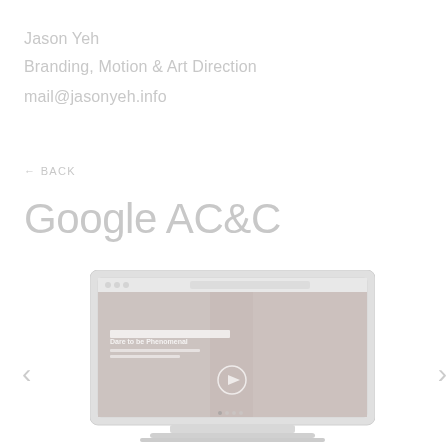Jason Yeh
Branding, Motion & Art Direction
mail@jasonyeh.info
BACK
Google AC&C
[Figure (screenshot): Laptop screen showing a webpage with 'Dare to be Phenomenal' heading, a video play button overlay, and an athlete image. Navigation arrows on left and right sides.]